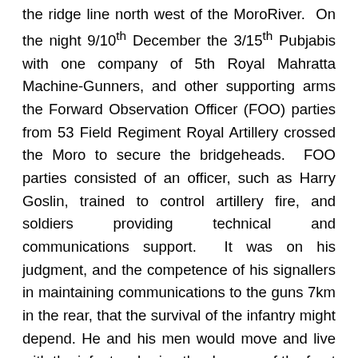the ridge line north west of the MoroRiver. On the night 9/10th December the 3/15th Pubjabis with one company of 5th Royal Mahratta Machine-Gunners, and other supporting arms the Forward Observation Officer (FOO) parties from 53 Field Regiment Royal Artillery crossed the Moro to secure the bridgeheads. FOO parties consisted of an officer, such as Harry Goslin, trained to control artillery fire, and soldiers providing technical and communications support. It was on his judgment, and the competence of his signallers in maintaining communications to the guns 7km in the rear, that the survival of the infantry might depend. He and his men would move and live with the infantry sharing the dangers of the front line. The presence of FOO parties was sufficiently important that Montgomery himself took a personal interest that they were correctly allocated. A few weeks earlier, at the Sangro crossing, one infantry company of another division crossed the river without an FOO party and found themselves